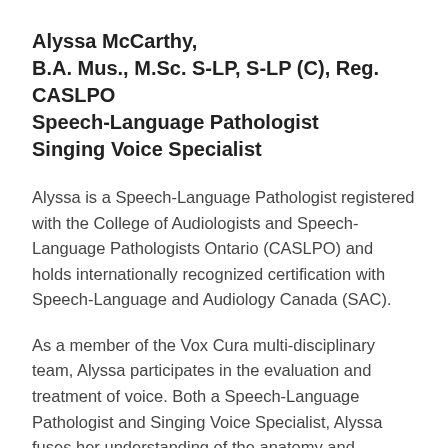Alyssa McCarthy,
B.A. Mus., M.Sc. S-LP, S-LP (C), Reg. CASLPO
Speech-Language Pathologist
Singing Voice Specialist
Alyssa is a Speech-Language Pathologist registered with the College of Audiologists and Speech-Language Pathologists Ontario (CASLPO) and holds internationally recognized certification with Speech-Language and Audiology Canada (SAC).
As a member of the Vox Cura multi-disciplinary team, Alyssa participates in the evaluation and treatment of voice. Both a Speech-Language Pathologist and Singing Voice Specialist, Alyssa fuses her understanding of the anatomy and physiology of the voice with her background in teaching and performing to bring a unique perspective of voice